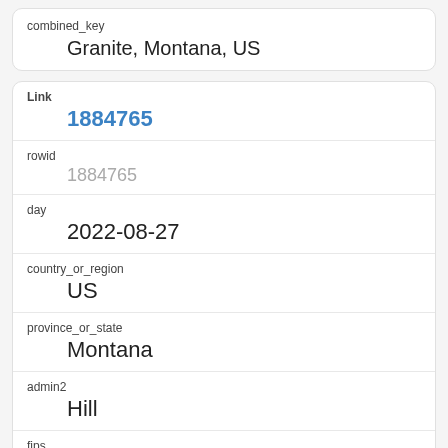| combined_key |
| --- |
| Granite, Montana, US |
| Link | rowid | day | country_or_region | province_or_state | admin2 | fips | confirmed | deaths |
| --- | --- | --- | --- | --- | --- | --- | --- | --- |
| 1884765 | 1884765 | 2022-08-27 | US | Montana | Hill | 30041 | 5045 |  |